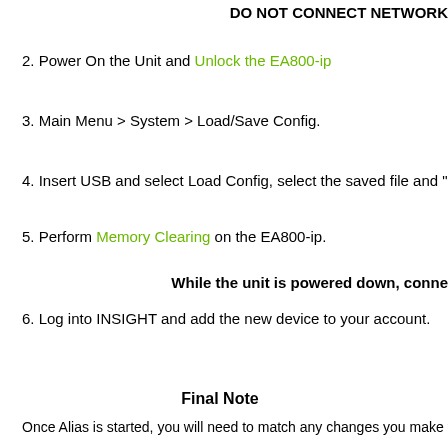DO NOT CONNECT NETWORK
2. Power On the Unit and Unlock the EA800-ip
3. Main Menu > System > Load/Save Config.
4. Insert USB and select Load Config, select the saved file and "ENTER" (o
5. Perform Memory Clearing on the EA800-ip.
While the unit is powered down, conne
6. Log into INSIGHT and add the new device to your account.
Final Note
Once Alias is started, you will need to match any changes you make from high limits and device changes will always need to mate